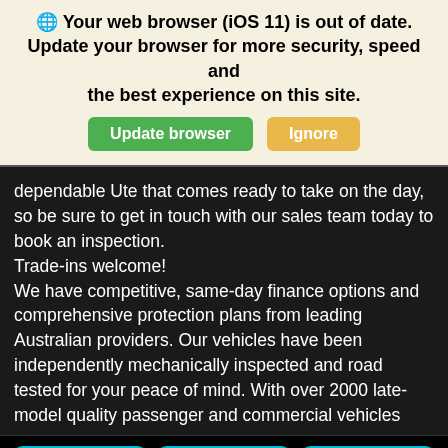🌐 Your web browser (iOS 11) is out of date. Update your browser for more security, speed and the best experience on this site.
dependable Ute that comes ready to take on the day, so be sure to get in touch with our sales team today to book an inspection.
Trade-ins welcome!
We have competitive, same-day finance options and comprehensive protection plans from leading Australian providers. Our vehicles have been independently mechanically inspected and road tested for your peace of mind. With over 2000 late-model quality passenger and commercial vehicles
Call | SMS | Message